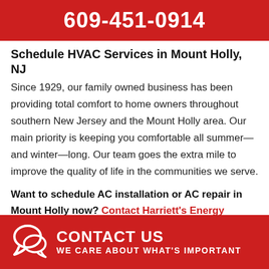609-451-0914
Schedule HVAC Services in Mount Holly, NJ
Since 1929, our family owned business has been providing total comfort to home owners throughout southern New Jersey and the Mount Holly area. Our main priority is keeping you comfortable all summer—and winter—long. Our team goes the extra mile to improve the quality of life in the communities we serve.
Want to schedule AC installation or AC repair in Mount Holly now? Contact Harriett's Energy Solutions by calling 609-451-0914 today!
[Figure (infographic): Red contact bar at the bottom with a chat bubble icon, heading 'CONTACT US' and subheading 'WE CARE ABOUT WHAT'S IMPORTANT']